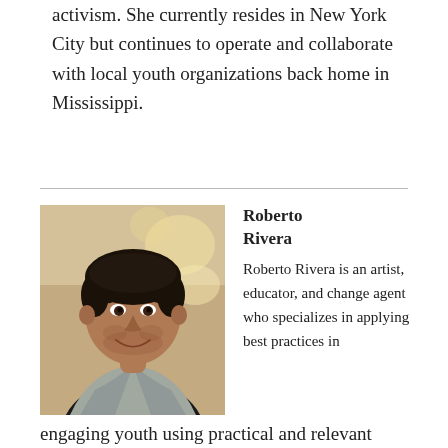activism. She currently resides in New York City but continues to operate and collaborate with local youth organizations back home in Mississippi.
[Figure (photo): Headshot of Roberto Rivera, a young man in a light grey blazer and black shirt, smiling, photographed indoors with a blurred background.]
Roberto Rivera
Roberto Rivera is an artist, educator, and change agent who specializes in applying best practices in engaging youth using practical and relevant